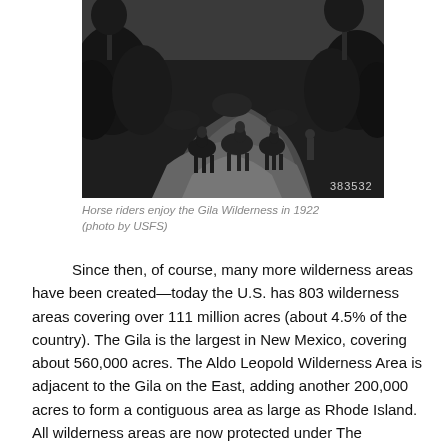[Figure (photo): Black and white historical photograph of horse riders on a trail in the Gila Wilderness, 1922. Photo number 383532 visible in lower right corner.]
Horse riders enjoy the Gila Wilderness in 1922 (photo by USFS)
Since then, of course, many more wilderness areas have been created—today the U.S. has 803 wilderness areas covering over 111 million acres (about 4.5% of the country).  The Gila is the largest in New Mexico, covering about 560,000 acres.  The Aldo Leopold Wilderness Area is adjacent to the Gila on the East, adding another 200,000 acres to form a contiguous area as large as Rhode Island.  All wilderness areas are now protected under The Wilderness Act, passed in 1964 (learn more about the Wilderness Act here).  Wilderness areas are